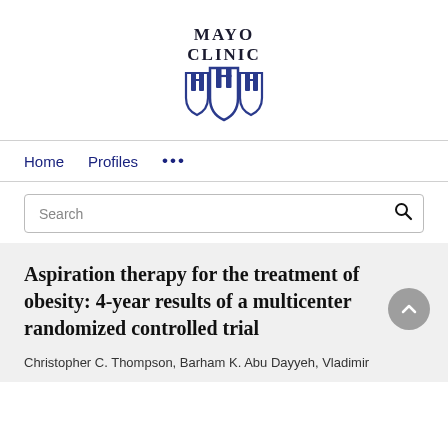[Figure (logo): Mayo Clinic logo with shield emblem and text 'MAYO CLINIC' in dark serif font above a blue shield/crest icon]
Home   Profiles   ...
Search
Aspiration therapy for the treatment of obesity: 4-year results of a multicenter randomized controlled trial
Christopher C. Thompson, Barham K. Abu Dayyeh, Vladimir